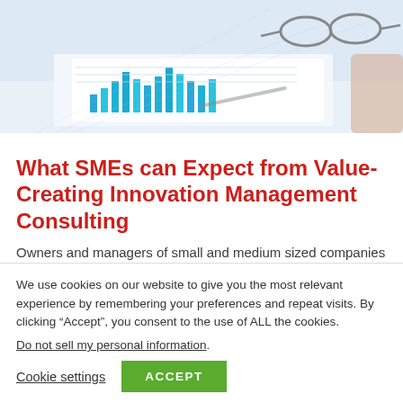[Figure (photo): Photo of financial charts and bar graphs on paper with glasses resting on top, blue and teal colored bar charts visible]
What SMEs can Expect from Value-Creating Innovation Management Consulting
Owners and managers of small and medium sized companies (SMEs) are reluctant to hire consultants
We use cookies on our website to give you the most relevant experience by remembering your preferences and repeat visits. By clicking “Accept”, you consent to the use of ALL the cookies.
Do not sell my personal information.
Cookie settings   ACCEPT